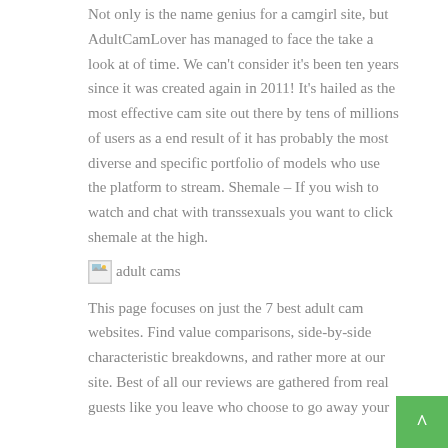Not only is the name genius for a camgirl site, but AdultCamLover has managed to face the take a look at of time. We can't consider it's been ten years since it was created again in 2011! It's hailed as the most effective cam site out there by tens of millions of users as a end result of it has probably the most diverse and specific portfolio of models who use the platform to stream. Shemale – If you wish to watch and chat with transsexuals you want to click shemale at the high.
[Figure (photo): Broken image placeholder with alt text 'adult cams']
This page focuses on just the 7 best adult cam websites. Find value comparisons, side-by-side characteristic breakdowns, and rather more at our site. Best of all our reviews are gathered from real guests like you leave who choose to go away your